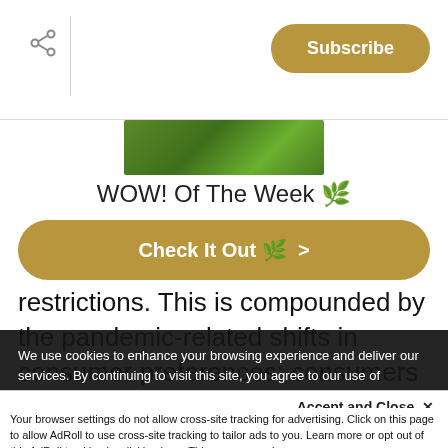Share | Subscribe
[Figure (photo): Partial image of green foliage/plant at top center of page]
WOW! Of The Week 🌿
Check It Out 🌿 >
restrictions. This is compounded by the pandemic-related shifts in consumer preferences: consumers are choosing physical goods rather than services. The demand for
We use cookies to enhance your browsing experience and deliver our services. By continuing to visit this site, you agree to our use of cookies.
Accept and Close ✕
Your browser settings do not allow cross-site tracking for advertising. Click on this page to allow AdRoll to use cross-site tracking to tailor ads to you. Learn more or opt out of this AdRoll tracking by clicking here. This message only appears once.